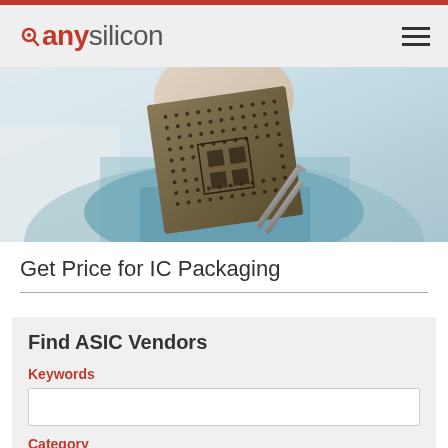anysilicon
[Figure (photo): Person in lab coat and mask holding an IC chip/processor with tweezers, close-up shot]
Get Price for IC Packaging
Find ASIC Vendors
Keywords
Category